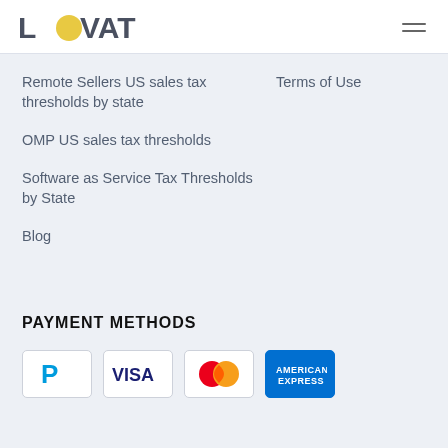LOVAT
Remote Sellers US sales tax thresholds by state
Terms of Use
OMP US sales tax thresholds
Software as Service Tax Thresholds by State
Blog
PAYMENT METHODS
[Figure (logo): Payment method logos: PayPal, Visa, Mastercard, American Express]